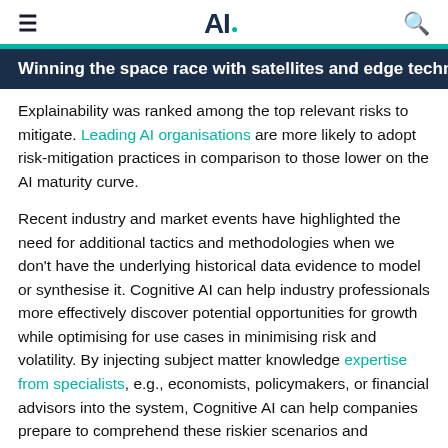≡  AI.  🔍
Winning the space race with satellites and edge technolog
Explainability was ranked among the top relevant risks to mitigate. Leading AI organisations are more likely to adopt risk-mitigation practices in comparison to those lower on the AI maturity curve.
Recent industry and market events have highlighted the need for additional tactics and methodologies when we don't have the underlying historical data evidence to model or synthesise it. Cognitive AI can help industry professionals more effectively discover potential opportunities for growth while optimising for use cases in minimising risk and volatility. By injecting subject matter knowledge expertise from specialists, e.g., economists, policymakers, or financial advisors into the system, Cognitive AI can help companies prepare to comprehend these riskier scenarios and